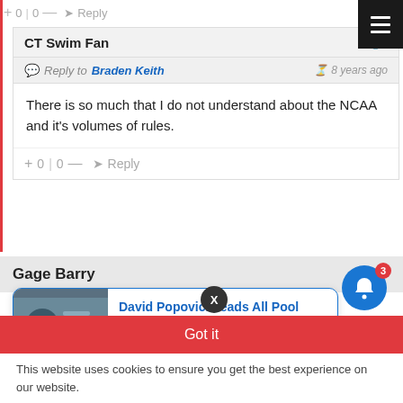+ 0 | 0 — Reply
CT Swim Fan
Reply to Braden Keith  •  8 years ago
There is so much that I do not understand about the NCAA and it's volumes of rules.
+ 0 | 0 — Reply
Gage Barry
8 years ago
[Figure (screenshot): Notification card showing article: David Popovici Leads All Pool Swimmers with, 6 hours ago, with thumbnail image]
Got it
This website uses cookies to ensure you get the best experience on our website.